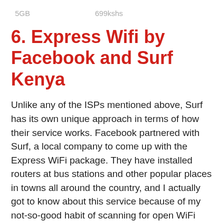5GB    699kshs
6. Express Wifi by Facebook and Surf Kenya
Unlike any of the ISPs mentioned above, Surf has its own unique approach in terms of how their service works. Facebook partnered with Surf, a local company to come up with the Express WiFi package. They have installed routers at bus stations and other popular places in towns all around the country, and I actually got to know about this service because of my not-so-good habit of scanning for open WiFi networks while in town.
How to get Express WiFi by Surf
Assuming you are in a place where Surf Express WiFi by